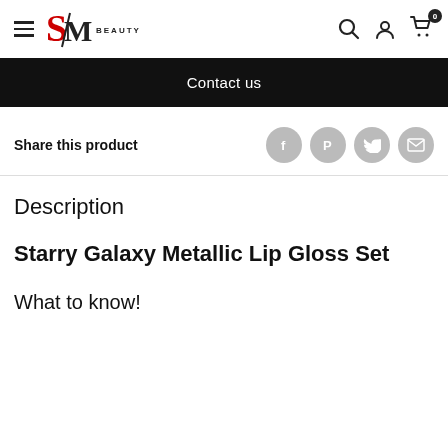SM BEAUTY — navigation bar with hamburger menu, logo, search, account, and cart icons
Contact us
Share this product
Description
Starry Galaxy Metallic Lip Gloss Set
What to know!